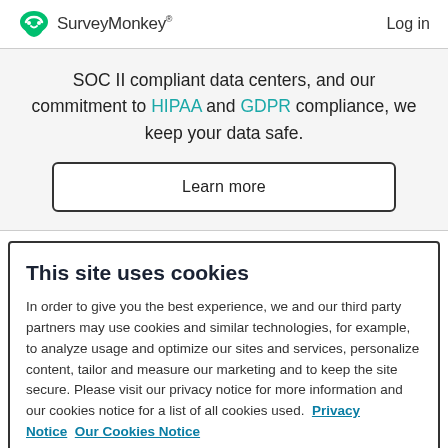SurveyMonkey  Log in
SOC II compliant data centers, and our commitment to HIPAA and GDPR compliance, we keep your data safe.
Learn more
This site uses cookies
In order to give you the best experience, we and our third party partners may use cookies and similar technologies, for example, to analyze usage and optimize our sites and services, personalize content, tailor and measure our marketing and to keep the site secure. Please visit our privacy notice for more information and our cookies notice for a list of all cookies used.  Privacy Notice  Our Cookies Notice